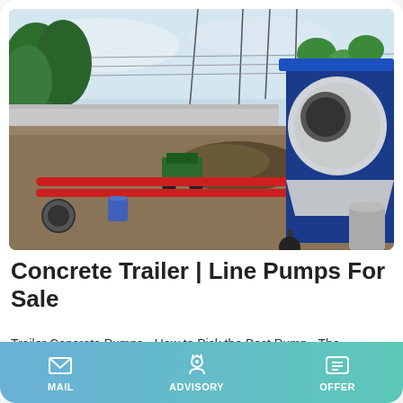[Figure (photo): A concrete trailer line pump at a construction site with red pipes laid on gravel ground, trees and a fence in the background, and a large cylindrical drum mixer on a blue wheeled frame on the right.]
Concrete Trailer | Line Pumps For Sale
Trailer Concrete Pumps - How to Pick the Best Pump - The
MAIL   ADVISORY   OFFER